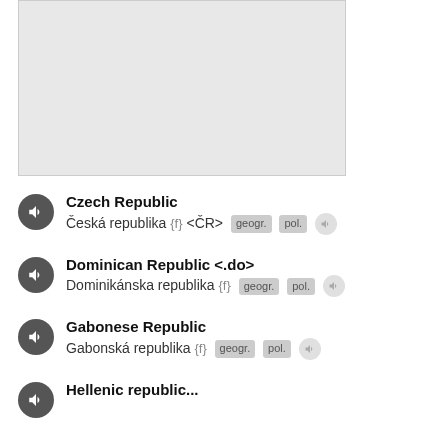[Figure (other): Gray placeholder image area at the top of the page]
Czech Republic — Česká republika {f} <ČR> geogr. pol. [speaker icon]
Dominican Republic <.do> — Dominikánska republika {f} geogr. pol. [speaker icon]
Gabonese Republic — Gabonská republika {f} geogr. pol. [speaker icon]
Hellenic republic... (partial, cut off)